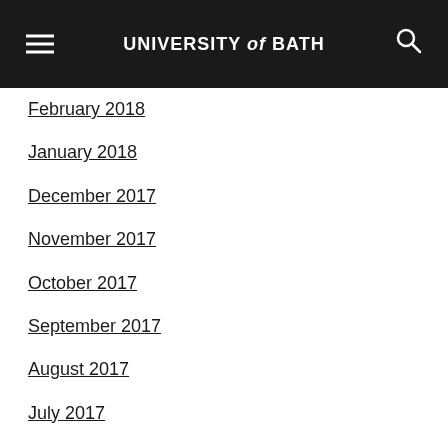UNIVERSITY of BATH
February 2018
January 2018
December 2017
November 2017
October 2017
September 2017
August 2017
July 2017
June 2017
May 2017
April 2017
March 2017